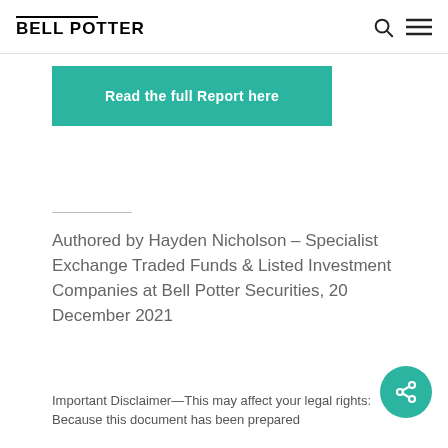BELL POTTER
[Figure (other): Teal/green button reading 'Read the full Report here']
Authored by Hayden Nicholson – Specialist Exchange Traded Funds & Listed Investment Companies at Bell Potter Securities, 20 December 2021
Important Disclaimer—This may affect your legal rights: Because this document has been prepared